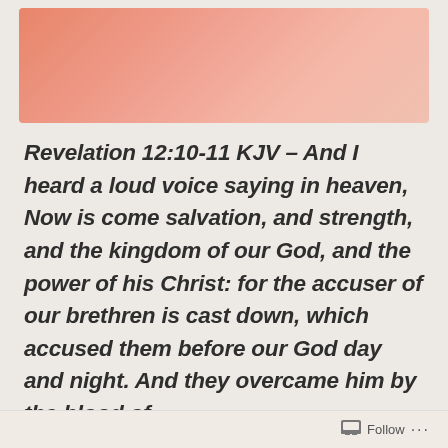[Figure (illustration): Salmon/coral colored gradient background image, partially visible at top of page]
Revelation 12:10-11 KJV – And I heard a loud voice saying in heaven, Now is come salvation, and strength, and the kingdom of our God, and the power of his Christ: for the accuser of our brethren is cast down, which accused them before our God day and night. And they overcame him by the blood of
Follow ...